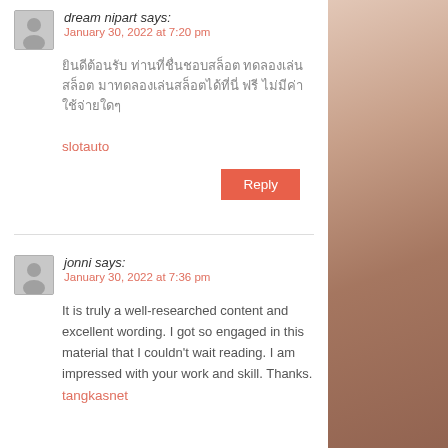dream nipart says:
January 30, 2022 at 7:20 pm
ยินดีต้อนรับ ท่านที่ชื่นชอบสล็อต ทดลองเล่นสล็อต มาทดลองเล่นสล็อตได้ที่นี่ ฟรี ไม่มีค่าใช้จ่ายใดๆ
slotauto
Reply
jonni says:
January 30, 2022 at 7:36 pm
It is truly a well-researched content and excellent wording. I got so engaged in this material that I couldn't wait reading. I am impressed with your work and skill. Thanks. tangkasnet